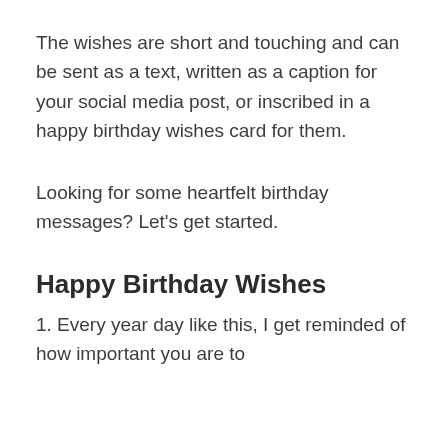The wishes are short and touching and can be sent as a text, written as a caption for your social media post, or inscribed in a happy birthday wishes card for them.
Looking for some heartfelt birthday messages? Let's get started.
Happy Birthday Wishes
1. Every year day like this, I get reminded of how important you are to